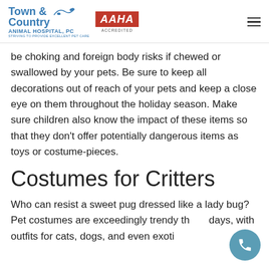Town & Country Animal Hospital, PC — Striving to Provide Excellent Pet Care | AAHA Accredited
be choking and foreign body risks if chewed or swallowed by your pets. Be sure to keep all decorations out of reach of your pets and keep a close eye on them throughout the holiday season. Make sure children also know the impact of these items so that they don't offer potentially dangerous items as toys or costume-pieces.
Costumes for Critters
Who can resist a sweet pug dressed like a lady bug? Pet costumes are exceedingly trendy these days, with outfits for cats, dogs, and even exotics.